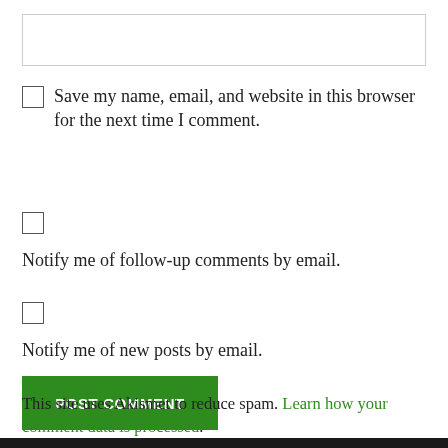[input box]
Save my name, email, and website in this browser for the next time I comment.
Notify me of follow-up comments by email.
Notify me of new posts by email.
POST COMMENT
This site uses Akismet to reduce spam. Learn how your comment data is processed.